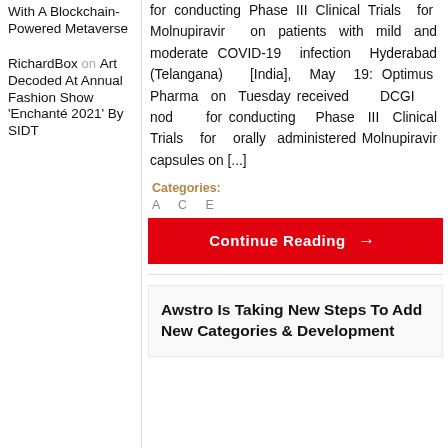With A Blockchain-Powered Metaverse
RichardBox on Art Decoded At Annual Fashion Show 'Enchanté 2021' By SIDT
for conducting Phase III Clinical Trials for Molnupiravir on patients with mild and moderate COVID-19 infection Hyderabad (Telangana) [India], May 19: Optimus Pharma on Tuesday received DCGI nod for conducting Phase III Clinical Trials for orally administered Molnupiravir capsules on [...]
Categories:
A  C  E...
Continue Reading →
Awstro Is Taking New Steps To Add New Categories & Development